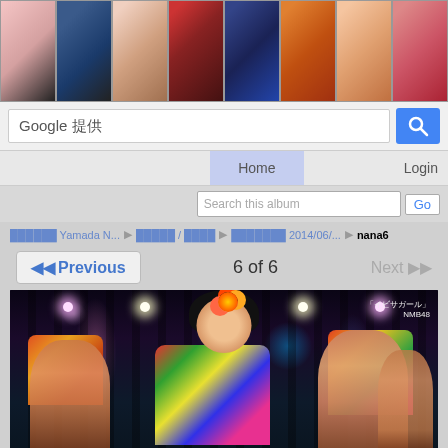[Figure (screenshot): Website screenshot showing a photo album page with thumbnails strip at top, Google search bar, navigation with Home and Login, album search, breadcrumb navigation showing Yamada N... > album/photos > 2014/06/... > nana6, pagination showing 6 of 6 with Previous and Next buttons, and a main photo of Japanese idol group NMB48 performing on stage in colorful Hawaiian outfits.]